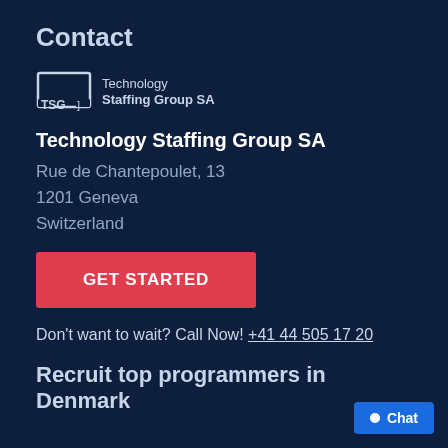Contact
[Figure (logo): Technology Staffing Group SA logo with TSG text in a bracket icon and company name]
Technology Staffing Group SA
Rue de Chantepoulet, 13
1201 Geneva
Switzerland
GET STARTED
Don't want to wait? Call Now! +41 44 505 17 20
Recruit top programmers in Denmark
Chat